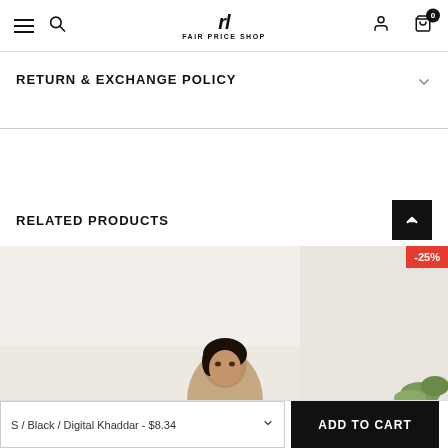Fair Price Shop — navigation header with hamburger menu, search, logo, user account, and cart (0 items)
RETURN & EXCHANGE POLICY
RELATED PRODUCTS
[Figure (photo): Fashion product photo of a woman model, partially visible, with a light background and greenery. A -25% discount badge is shown in the top-right corner.]
S / Black / Digital Khaddar - $8.34
ADD TO CART